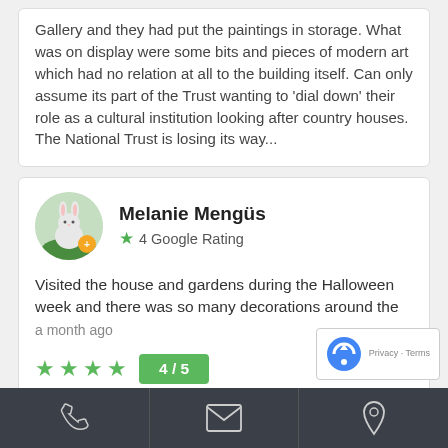Gallery and they had put the paintings in storage. What was on display were some bits and pieces of modern art which had no relation at all to the building itself. Can only assume its part of the Trust wanting to 'dial down' their role as a cultural institution looking after country houses. The National Trust is losing its way...
Melanie Mengüs
4 Google Rating
Visited the house and gardens during the Halloween week and there was so many decorations around the
a month ago
4/5